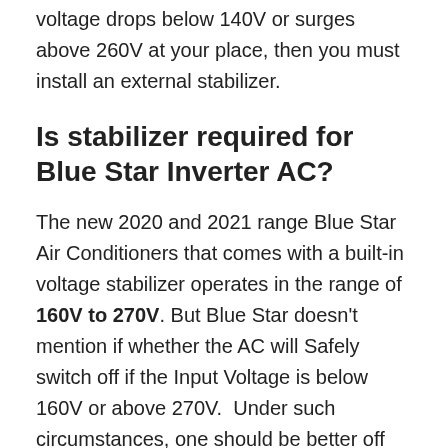voltage drops below 140V or surges above 260V at your place, then you must install an external stabilizer.
Is stabilizer required for Blue Star Inverter AC?
The new 2020 and 2021 range Blue Star Air Conditioners that comes with a built-in voltage stabilizer operates in the range of 160V to 270V. But Blue Star doesn’t mention if whether the AC will Safely switch off if the Input Voltage is below 160V or above 270V.  Under such circumstances, one should be better off investing in a voltage stabilizer.
Is stabilizer required for Hitachi